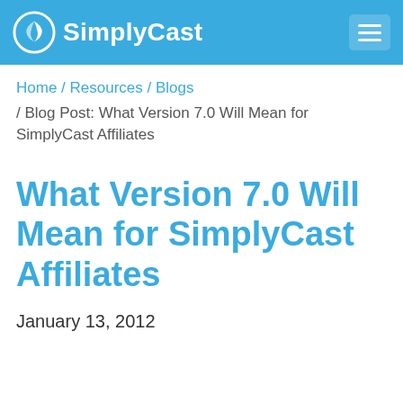SimplyCast
Home / Resources / Blogs / Blog Post: What Version 7.0 Will Mean for SimplyCast Affiliates
What Version 7.0 Will Mean for SimplyCast Affiliates
January 13, 2012